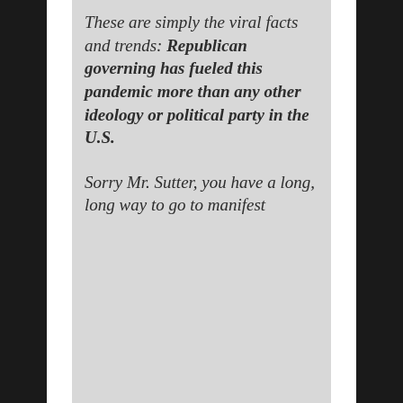These are simply the viral facts and trends: Republican governing has fueled this pandemic more than any other ideology or political party in the U.S.
Sorry Mr. Sutter, you have a long, long way to go to manifest